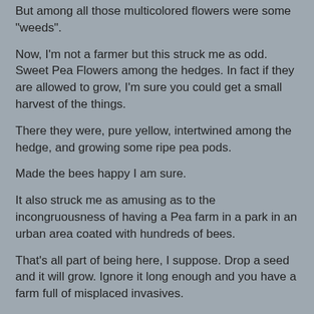But among all those multicolored flowers were some "weeds".
Now, I'm not a farmer but this struck me as odd.  Sweet Pea Flowers among the hedges.  In fact if they are allowed to grow, I'm sure you could get a small harvest of the things.
There they were, pure yellow, intertwined among the hedge, and growing some ripe pea pods.
Made the bees happy I am sure.
It also struck me as amusing as to the incongruousness of having a Pea farm in a park in an urban area coated with hundreds of bees.
That's all part of being here, I suppose.  Drop a seed and it will grow.  Ignore it long enough and you have a farm full of misplaced invasives.
Sometimes it all works out for the best.